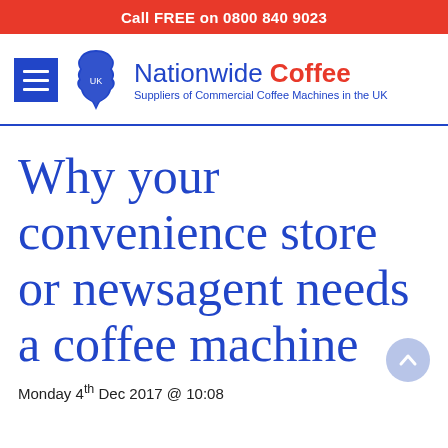Call FREE on 0800 840 9023
[Figure (logo): Nationwide Coffee logo with menu icon, UK map illustration, brand name 'Nationwide Coffee' and tagline 'Suppliers of Commercial Coffee Machines in the UK']
Why your convenience store or newsagent needs a coffee machine
Monday 4th Dec 2017 @ 10:08